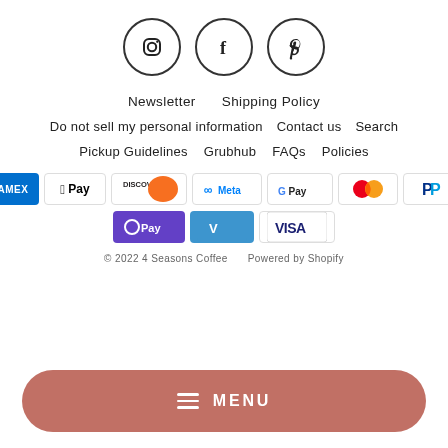[Figure (infographic): Three circular social media icons: Instagram, Facebook, Pinterest]
Newsletter    Shipping Policy
Do not sell my personal information    Contact us    Search
Pickup Guidelines    Grubhub    FAQs    Policies
[Figure (infographic): Payment method badges: Amex, Apple Pay, Discover, Meta, Google Pay, Mastercard, PayPal, OPay, Venmo, Visa]
© 2022 4 Seasons Coffee    Powered by Shopify
≡  MENU